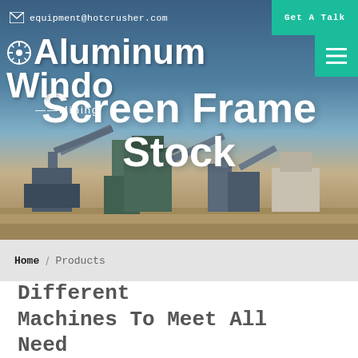equipment@hotcrusher.com  Get A Talk
Aluminum Window Mining Screen Frame Stock
[Figure (photo): Mining/crushing facility with conveyor belts and industrial equipment against a blue sky and sandy ground]
Home / Products
Different Machines To Meet All Need